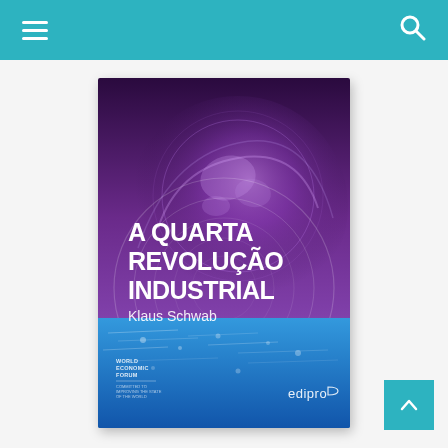[Figure (illustration): Book cover of 'A Quarta Revolução Industrial' by Klaus Schwab, published by Edipro. The cover features a purple/violet gradient background with a stylized globe and circular wave patterns. The lower portion shows a blue ocean/water scene. The title text is large white bold: 'A QUARTA REVOLUÇÃO INDUSTRIAL'. Below the title in lighter text: 'Klaus Schwab'. Bottom-left has the World Economic Forum logo and bottom-right has the Edipro publisher logo.]